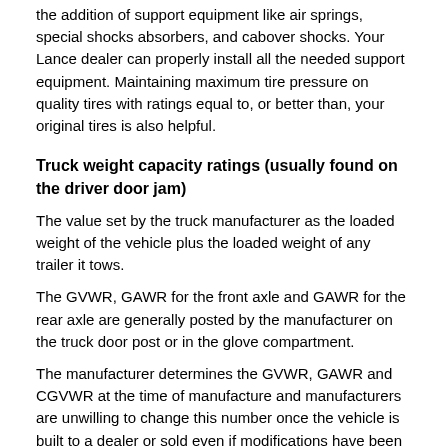the addition of support equipment like air springs, special shocks absorbers, and cabover shocks. Your Lance dealer can properly install all the needed support equipment. Maintaining maximum tire pressure on quality tires with ratings equal to, or better than, your original tires is also helpful.
Truck weight capacity ratings (usually found on the driver door jam)
The value set by the truck manufacturer as the loaded weight of the vehicle plus the loaded weight of any trailer it tows.
The GVWR, GAWR for the front axle and GAWR for the rear axle are generally posted by the manufacturer on the truck door post or in the glove compartment.
The manufacturer determines the GVWR, GAWR and CGVWR at the time of manufacture and manufacturers are unwilling to change this number once the vehicle is built to a dealer or sold even if modifications have been made to the truck.
GVWR (Gross Vehicle Weight Rating)
The value set by the truck manufacturer as the loaded weight of a